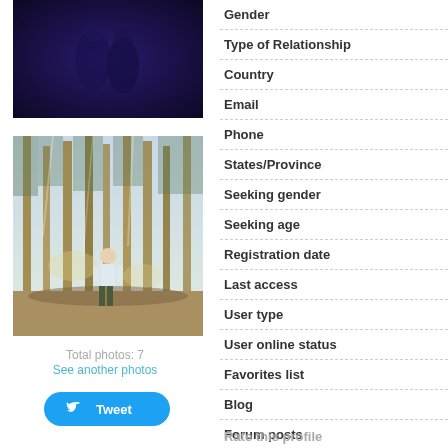[Figure (photo): Dark blue/purple toned photo, top portion of left column]
[Figure (photo): Photo of a person standing in a pine forest with sunlight filtering through tall trees]
Total photos: 7
See another photos
Tweet
Gender
Type of Relationship
Country
Email
Phone
States/Province
Seeking gender
Seeking age
Registration date
Last access
User type
User online status
Favorites list
Blog
Forum posts
Rate this profile